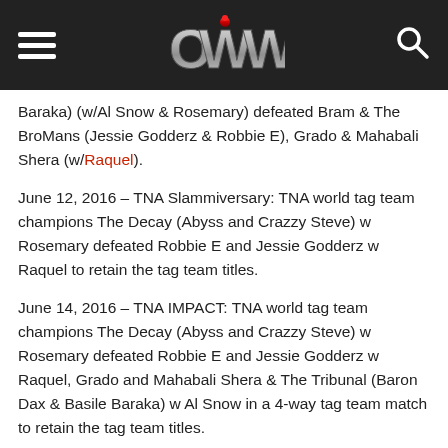OWW (Online World of Wrestling) website header with hamburger menu, OWW logo, and search icon
Baraka) (w/Al Snow & Rosemary) defeated Bram & The BroMans (Jessie Godderz & Robbie E), Grado & Mahabali Shera (w/Raquel).
June 12, 2016 – TNA Slammiversary: TNA world tag team champions The Decay (Abyss and Crazzy Steve) w Rosemary defeated Robbie E and Jessie Godderz w Raquel to retain the tag team titles.
June 14, 2016 – TNA IMPACT: TNA world tag team champions The Decay (Abyss and Crazzy Steve) w Rosemary defeated Robbie E and Jessie Godderz w Raquel, Grado and Mahabali Shera & The Tribunal (Baron Dax & Basile Baraka) w Al Snow in a 4-way tag team match to retain the tag team titles.
June 17, 2016: Abyss have signed a new TNA contract.
June 18, 2016 – SSW/RCW/PWK: Abyss and Brutus Dylan defeated Kevin Storm and Noah Walker to win the tag